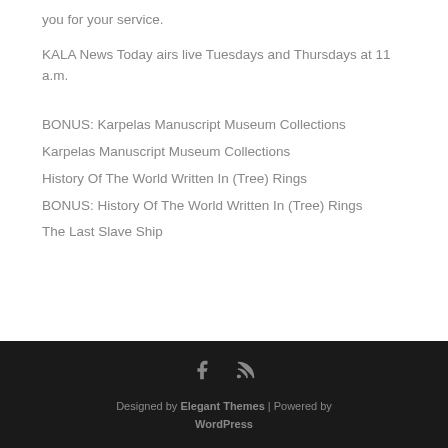you for your service.
KALA News Today airs live Tuesdays and Thursdays at 11 a.m.
BONUS: Karpelas Manuscript Museum Collections
Karpelas Manuscript Museum Collections
History Of The World Written In (Tree) Rings
BONUS: History Of The World Written In (Tree) Rings
The Last Slave Ship
Designed by Elegant Themes | Powered by WordPress